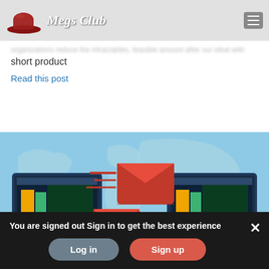[Figure (logo): Megs Club logo with red fedora hat and italic white script text]
short product
Read this post
[Figure (illustration): Two laptop computers connected via email messages (red envelope icons) over a light blue world map background, illustrating email or data transfer between systems.]
You are signed out Sign in to get the best experience
Log in
Sign up